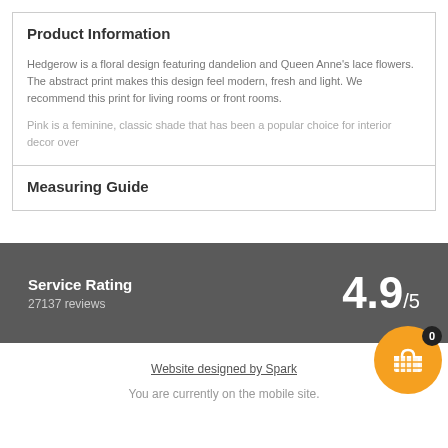Product Information
Hedgerow is a floral design featuring dandelion and Queen Anne's lace flowers. The abstract print makes this design feel modern, fresh and light. We recommend this print for living rooms or front rooms.
Pink is a feminine, classic shade that has been a popular choice for interior decor over
Measuring Guide
Service Rating
27137 reviews
4.9/5
Website designed by Spark
You are currently on the mobile site.